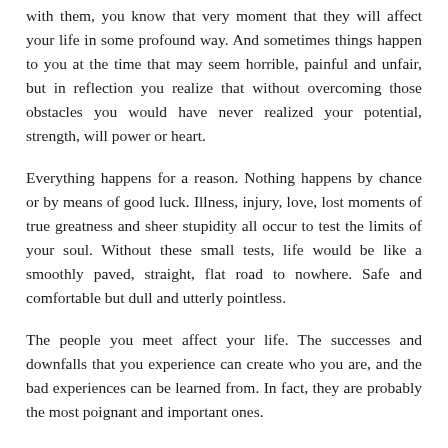with them, you know that very moment that they will affect your life in some profound way. And sometimes things happen to you at the time that may seem horrible, painful and unfair, but in reflection you realize that without overcoming those obstacles you would have never realized your potential, strength, will power or heart.
Everything happens for a reason. Nothing happens by chance or by means of good luck. Illness, injury, love, lost moments of true greatness and sheer stupidity all occur to test the limits of your soul. Without these small tests, life would be like a smoothly paved, straight, flat road to nowhere. Safe and comfortable but dull and utterly pointless.
The people you meet affect your life. The successes and downfalls that you experience can create who you are, and the bad experiences can be learned from. In fact, they are probably the most poignant and important ones.
If someone hurts you, betrays you or breaks your heart, forgive them because they have helped you learn about trust and the importance of being cautious to whom you open your heart.